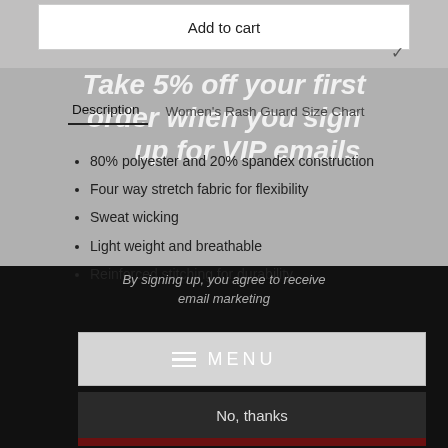Add to cart
Take 5% off your first order when you sign up for VIP emails
Description    Women's Rash Guard Size Chart
80% polyester and 20% spandex construction
Four way stretch fabric for flexibility
Sweat wicking
Light weight and breathable
Reinforced stitching for durability
Unlock Offer
By signing up, you agree to receive email marketing
MENU
No, thanks